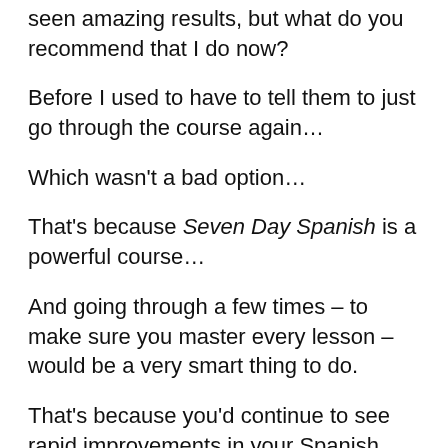seen amazing results, but what do you recommend that I do now?
Before I used to have to tell them to just go through the course again…
Which wasn't a bad option…
That's because Seven Day Spanish is a powerful course…
And going through a few times – to make sure you master every lesson – would be a very smart thing to do.
That's because you'd continue to see rapid improvements in your Spanish speaking and comprehension ability.